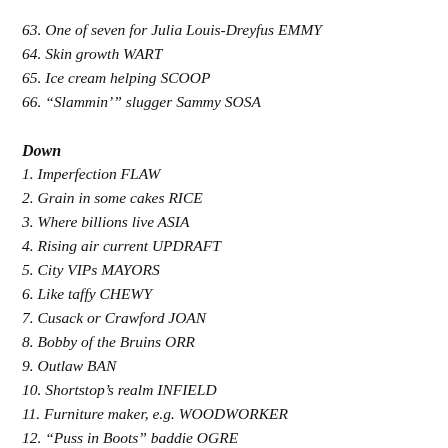63. One of seven for Julia Louis-Dreyfus EMMY
64. Skin growth WART
65. Ice cream helping SCOOP
66. “Slammin’” slugger Sammy SOSA
Down
1. Imperfection FLAW
2. Grain in some cakes RICE
3. Where billions live ASIA
4. Rising air current UPDRAFT
5. City VIPs MAYORS
6. Like taffy CHEWY
7. Cusack or Crawford JOAN
8. Bobby of the Bruins ORR
9. Outlaw BAN
10. Shortstop’s realm INFIELD
11. Furniture maker, e.g. WOODWORKER
12. “Puss in Boots” baddie OGRE
13. Signaled yeses NODS